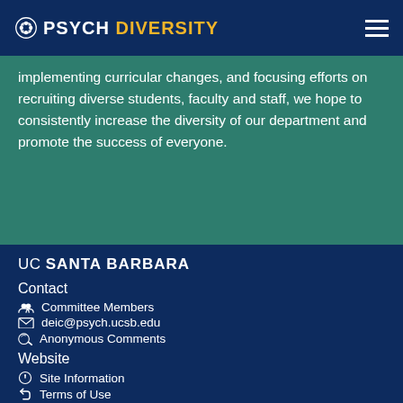PSYCH DIVERSITY
implementing curricular changes, and focusing efforts on recruiting diverse students, faculty and staff, we hope to consistently increase the diversity of our department and promote the success of everyone.
UC SANTA BARBARA
Contact
Committee Members
deic@psych.ucsb.edu
Anonymous Comments
Website
Site Information
Terms of Use
Privacy